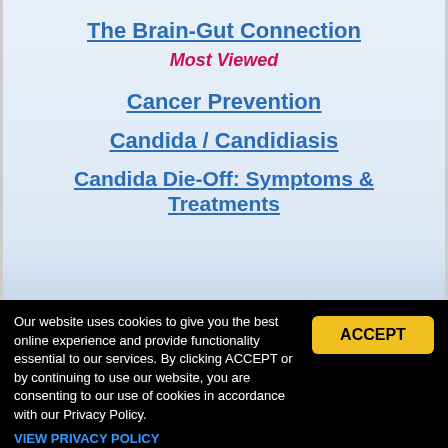The Brain-Gut Connection
Most Viewed
Cancer Prevention
Candida / Candidiasis
Candida Die-Off: Symptoms & Treatments
Our website uses cookies to give you the best online experience and provide functionality essential to our services. By clicking ACCEPT or by continuing to use our website, you are consenting to our use of cookies in accordance with our Privacy Policy.
VIEW PRIVACY POLICY